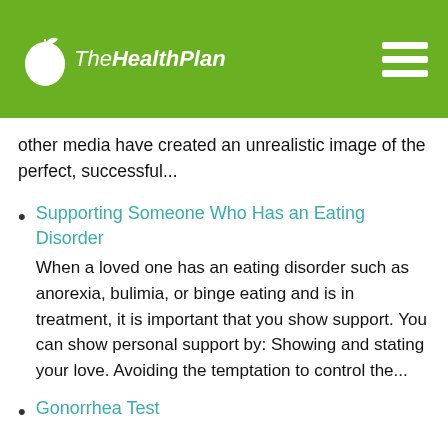The Health Plan
other media have created an unrealistic image of the perfect, successful...
Supporting Someone Who Has an Eating Disorder
When a loved one has an eating disorder such as anorexia, bulimia, or binge eating and is in treatment, it is important that you show support. You can show personal support by: Showing and stating your love. Avoiding the temptation to control the...
Gonorrhea Test